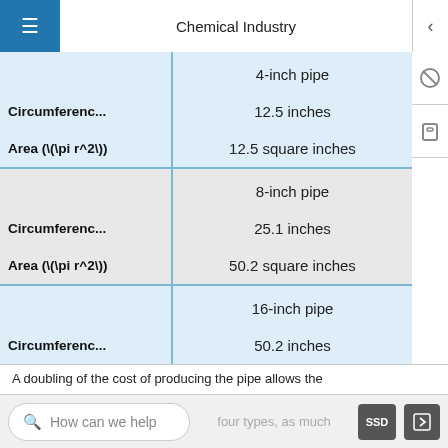Chemical Industry
|  | Chemical Industry |
| --- | --- |
|  | 4-inch pipe |
| Circumferenc... | 12.5 inches |
| Area (\(\pi r^2\)) | 12.5 square inches |
|  | 8-inch pipe |
| Circumferenc... | 25.1 inches |
| Area (\(\pi r^2\)) | 50.2 square inches |
|  | 16-inch pipe |
| Circumferenc... | 50.2 inches |
| Area (\(\pi r^2\)) | 201.1 square inches |
A doubling of the cost of producing the pipe allows the
How can we help    four types, as much